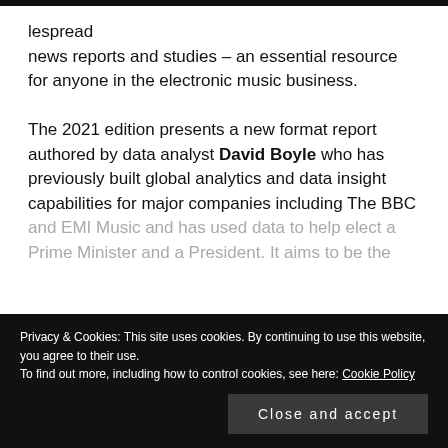lespread news reports and studies – an essential resource for anyone in the electronic music business.
The 2021 edition presents a new format report authored by data analyst David Boyle who has previously built global analytics and data insight capabilities for major companies including The BBC and EMI Music and has used data to help elect a Prime Minister and a President. It aims to be the
CONTINUE READING...
Privacy & Cookies: This site uses cookies. By continuing to use this website, you agree to their use.
To find out more, including how to control cookies, see here: Cookie Policy
Close and accept